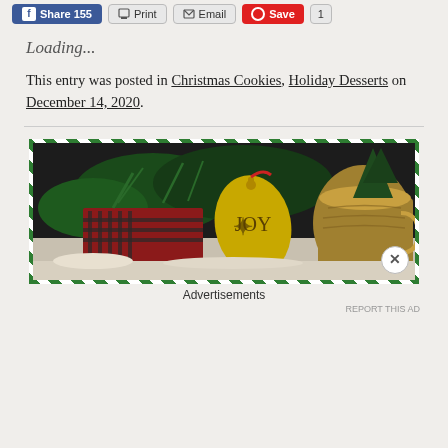Share 155  Print  Email  Save
Loading...
This entry was posted in Christmas Cookies, Holiday Desserts on December 14, 2020.
[Figure (photo): Christmas holiday scene with ornament, plaid fabric, pine branches, and a brass pot, surrounded by green and white diagonal stripe border. Advertisement image.]
Advertisements
REPORT THIS AD